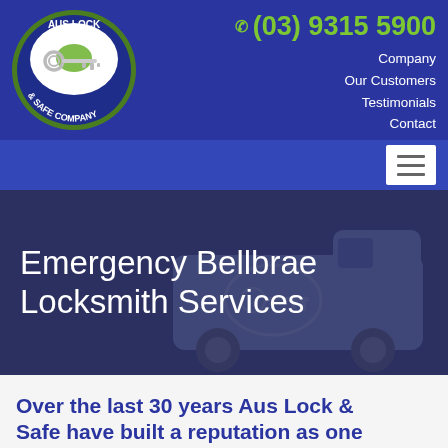[Figure (logo): Aus Lock & Safe Company logo: oval green-outlined emblem with blue background, white oval center with silver key and Australian map outline in green, text 'AUS LOCK & SAFE COMPANY']
(03) 9315 5900
Company
Our Customers
Testimonials
Contact
[Figure (illustration): Hamburger menu icon (three horizontal lines) in white box on blue bar]
Emergency Bellbrae Locksmith Services
[Figure (illustration): Faint van/vehicle silhouette with locksmith key logo on side, dark blue overlay]
Over the last 30 years Aus Lock & Safe have built a reputation as one